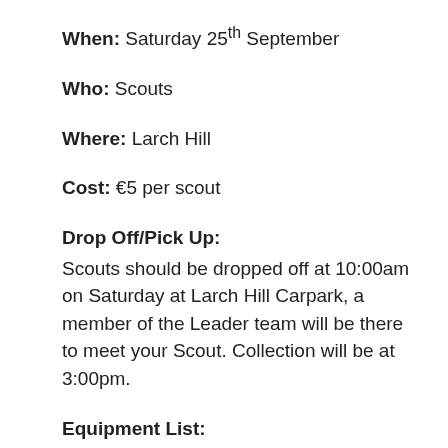When: Saturday 25th September
Who: Scouts
Where:  Larch Hill
Cost: €5 per scout
Drop Off/Pick Up:
Scouts should be dropped off at 10:00am on Saturday at Larch Hill Carpark, a member of the Leader team will be there to meet your Scout. Collection will be at 3:00pm.
Equipment List: